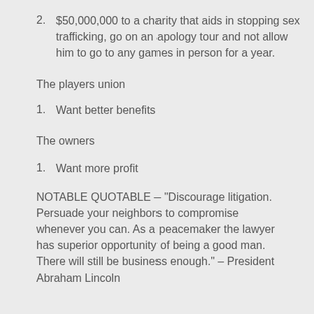2. $50,000,000 to a charity that aids in stopping sex trafficking, go on an apology tour and not allow him to go to any games in person for a year.
The players union
1. Want better benefits
The owners
1. Want more profit
NOTABLE QUOTABLE – "Discourage litigation. Persuade your neighbors to compromise whenever you can. As a peacemaker the lawyer has superior opportunity of being a good man. There will still be business enough." – President Abraham Lincoln